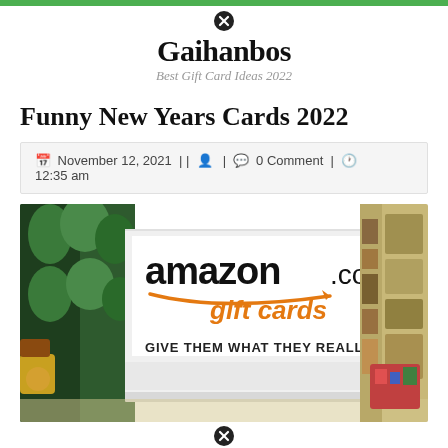Gaihanbos — Best Gift Card Ideas 2022
Funny New Years Cards 2022
November 12, 2021 || 🧑 | 💬 0 Comment | 🕐 12:35 am
[Figure (photo): Amazon.com gift cards display stand in a store with sign reading 'GIVE THEM WHAT THEY REALLY WANT']